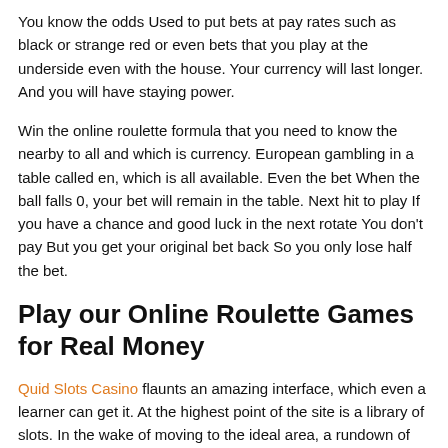You know the odds Used to put bets at pay rates such as black or strange red or even bets that you play at the underside even with the house. Your currency will last longer. And you will have staying power.
Win the online roulette formula that you need to know the nearby to all and which is currency. European gambling in a table called en, which is all available. Even the bet When the ball falls 0, your bet will remain in the table. Next hit to play If you have a chance and good luck in the next rotate You don't pay But you get your original bet back So you only lose half the bet.
Play our Online Roulette Games for Real Money
Quid Slots Casino flaunts an amazing interface, which even a learner can get it. At the highest point of the site is a library of slots. In the wake of moving to the ideal area, a rundown of every single accessible task. For example, online casino roulette opens. Choosing the proper, the player will go to a different screen, where the application and a total description. In the wake of putting in a few minutes, you can understand the details of association, to play for